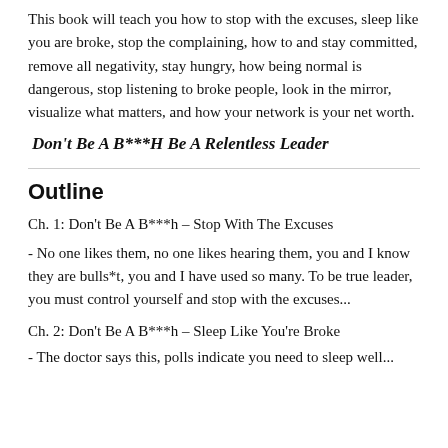This book will teach you how to stop with the excuses, sleep like you are broke, stop the complaining, how to and stay committed, remove all negativity, stay hungry, how being normal is dangerous, stop listening to broke people, look in the mirror, visualize what matters, and how your network is your net worth.
Don't Be A B***H Be A Relentless Leader
Outline
Ch. 1: Don't Be A B***h – Stop With The Excuses
- No one likes them, no one likes hearing them, you and I know they are bulls*t, you and I have used so many. To be true leader, you must control yourself and stop with the excuses...
Ch. 2: Don't Be A B***h – Sleep Like You're Broke
- The doctor says this, polls indicate you need to sleep well...